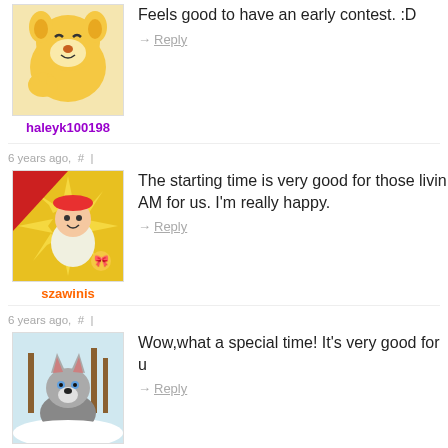[Figure (illustration): Avatar image of haleyk100198 - cartoon dog character]
haleyk100198
Feels good to have an early contest. :D
→ Reply
6 years ago, # |
[Figure (illustration): Avatar image of szawinis - Animal Crossing character with ribbon badge]
szawinis
The starting time is very good for those livin... AM for us. I'm really happy.
→ Reply
6 years ago, # |
[Figure (illustration): Avatar image of winme - illustrated wolf/husky in snowy forest]
winme
Wow,what a special time! It's very good for u
→ Reply
6 years ago, # |
[Figure (photo): Avatar photo of a young man]
CF can consider arranging contests at differ... the world and definitely some times are com... where usual time is at 9/10 PM and this con...